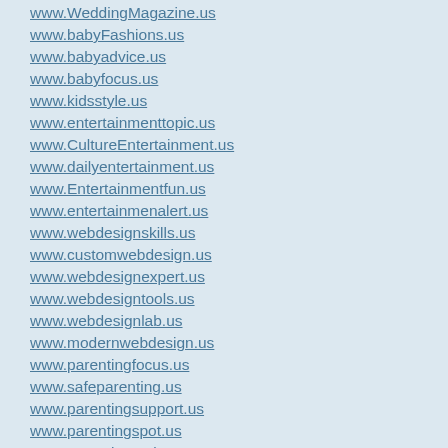www.WeddingMagazine.us
www.babyFashions.us
www.babyadvice.us
www.babyfocus.us
www.kidsstyle.us
www.entertainmenttopic.us
www.CultureEntertainment.us
www.dailyentertainment.us
www.Entertainmentfun.us
www.entertainmenalert.us
www.webdesignskills.us
www.customwebdesign.us
www.webdesignexpert.us
www.webdesigntools.us
www.webdesignlab.us
www.modernwebdesign.us
www.parentingfocus.us
www.safeparenting.us
www.parentingsupport.us
www.parentingspot.us
www.parentingtopic.us
www.parentinghelp.us
www.healthyparenting.us
www.freshfoodmeal.us
www.foodfestival.us